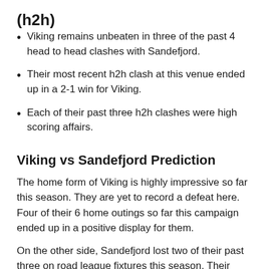(h2h)
Viking remains unbeaten in three of the past 4 head to head clashes with Sandefjord.
Their most recent h2h clash at this venue ended up in a 2-1 win for Viking.
Each of their past three h2h clashes were high scoring affairs.
Viking vs Sandefjord Prediction
The home form of Viking is highly impressive so far this season. They are yet to record a defeat here. Four of their 6 home outings so far this campaign ended up in a positive display for them.
On the other side, Sandefjord lost two of their past three on road league fixtures this season. Their